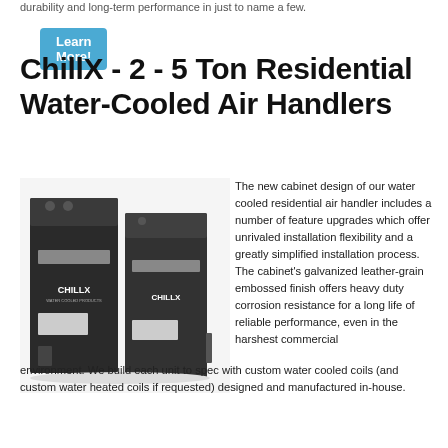durability and long-term performance in just to name a few.
Learn More!
ChillX - 2 - 5 Ton Residential Water-Cooled Air Handlers
[Figure (photo): Two ChillX water-cooled residential air handler units side by side, dark gray cabinet finish with ChillX branding]
The new cabinet design of our water cooled residential air handler includes a number of feature upgrades which offer unrivaled installation flexibility and a greatly simplified installation process. The cabinet's galvanized leather-grain embossed finish offers heavy duty corrosion resistance for a long life of reliable performance, even in the harshest commercial environment. We build each unit to spec with custom water cooled coils (and custom water heated coils if requested) designed and manufactured in-house.
Learn More!